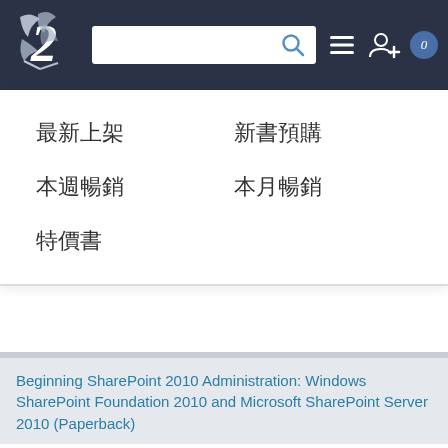[Navigation bar with logo, search box, and icons]
最新上架
新書預購
本週暢銷
本月暢銷
特價書
Beginning SharePoint 2010 Administration: Windows SharePoint Foundation 2010 and Microsoft SharePoint Server 2010 (Paperback)
Göran Husman, Christian St?hl
[Figure (photo): Book cover for Beginning SharePoint 2010 Administration showing a person with a red hat against dark background, Wrox publisher branding]